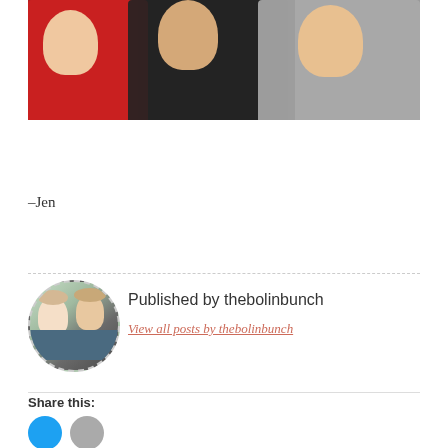[Figure (photo): Family photo showing people sitting together, one wearing a red sweatshirt, one in a dark Christmas t-shirt, and another in gray clothing]
–Jen
[Figure (photo): Circular avatar photo of a couple, woman with blonde hair smiling and man with beard]
Published by thebolinbunch
View all posts by thebolinbunch
Share this: